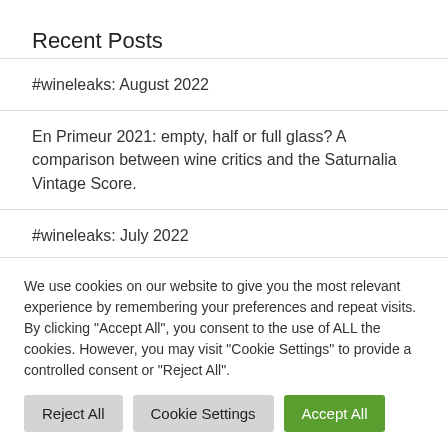Recent Posts
#wineleaks: August 2022
En Primeur 2021: empty, half or full glass? A comparison between wine critics and the Saturnalia Vintage Score.
#wineleaks: July 2022
Barolo Cannubi 2021? If you think we're rushing ahead, discover what satellites can tell you…
We use cookies on our website to give you the most relevant experience by remembering your preferences and repeat visits. By clicking "Accept All", you consent to the use of ALL the cookies. However, you may visit "Cookie Settings" to provide a controlled consent or "Reject All".